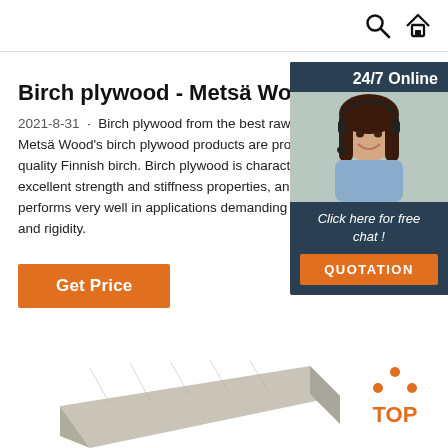Search and Home navigation icons
Birch plywood - Metsä Wood
2021-8-31 · Birch plywood from the best raw Metsä Wood's birch plywood products are pro quality Finnish birch. Birch plywood is charact excellent strength and stiffness properties, and performs very well in applications demanding b and rigidity.
[Figure (photo): Customer service representative woman wearing headset, with 24/7 Online chat widget overlay, and orange QUOTATION button]
[Figure (photo): Birch plywood sheet product photo in lower section]
[Figure (logo): Orange TOP icon with upward arrow dots in bottom-right corner]